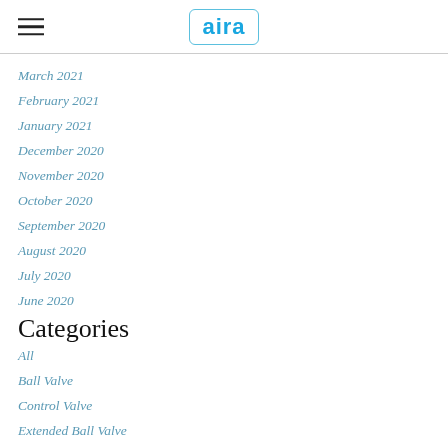aira
March 2021
February 2021
January 2021
December 2020
November 2020
October 2020
September 2020
August 2020
July 2020
June 2020
Categories
All
Ball Valve
Control Valve
Extended Ball Valve
Gate Valve